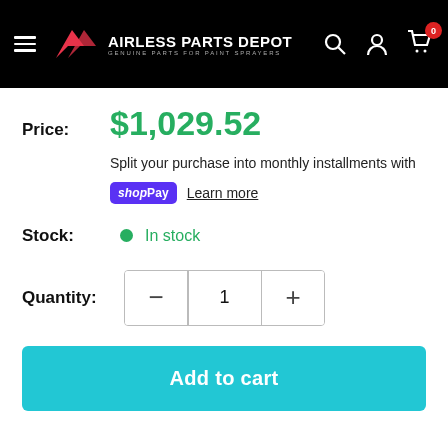AIRLESS PARTS DEPOT — GENUINE PARTS FOR PAINT SPRAYERS
Price: $1,029.52
Split your purchase into monthly installments with shop Pay Learn more
Stock: In stock
Quantity: 1
Add to cart